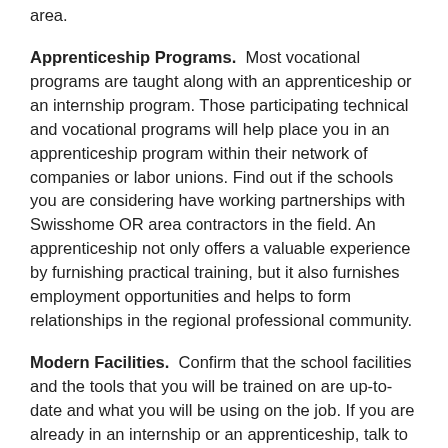area.
Apprenticeship Programs.  Most vocational programs are taught along with an apprenticeship or an internship program. Those participating technical and vocational programs will help place you in an apprenticeship program within their network of companies or labor unions. Find out if the schools you are considering have working partnerships with Swisshome OR area contractors in the field. An apprenticeship not only offers a valuable experience by furnishing practical training, but it also furnishes employment opportunities and helps to form relationships in the regional professional community.
Modern Facilities.  Confirm that the school facilities and the tools that you will be trained on are up-to-date and what you will be using on the job. If you are already in an internship or an apprenticeship, talk to the tech you